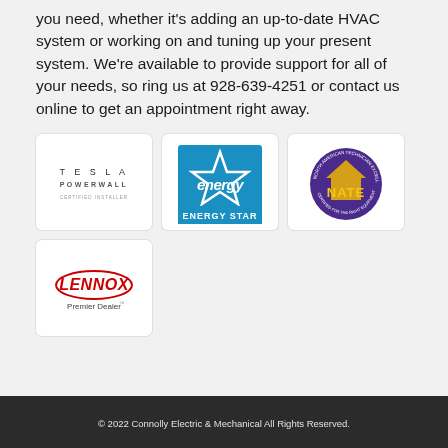you need, whether it's adding an up-to-date HVAC system or working on and tuning up your present system. We're available to provide support for all of your needs, so ring us at 928-639-4251 or contact us online to get an appointment right away.
[Figure (logo): Tesla Powerwall Certified Installer logo]
[Figure (logo): Energy Star logo]
[Figure (logo): NATE (North American Technician Excellence) certification logo]
[Figure (logo): Lennox Premier Dealer logo]
© 2022 Connolly Electric & Mechanical All Rights Reserved.